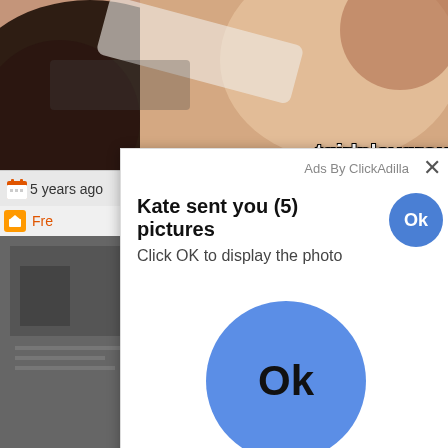[Figure (screenshot): Screenshot of a web page showing adult content thumbnail at top, a toolbar with '5 years ago' text and '[x] Close Ad' button, a navigation bar with orange icons and links, background thumbnails, and an ad overlay popup dialog saying 'Kate sent you (5) pictures / Click OK to display the photo' with two Ok buttons (one small blue circle top-right of popup, one large blue circle in center of popup). Watermark text 'tgirlplaygrou' visible top-right of background image.]